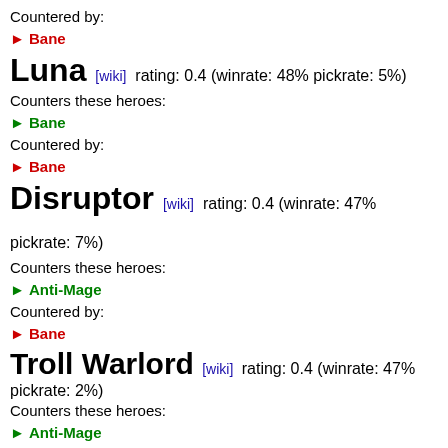Countered by:
▶ Bane
Luna [wiki] rating: 0.4 (winrate: 48% pickrate: 5%)
Counters these heroes:
▶ Bane
Countered by:
▶ Bane
Disruptor [wiki] rating: 0.4 (winrate: 47% pickrate: 7%)
Counters these heroes:
▶ Anti-Mage
Countered by:
▶ Bane
Troll Warlord [wiki] rating: 0.4 (winrate: 47% pickrate: 2%)
Counters these heroes:
▶ Anti-Mage
Countered by:
▶ Bane